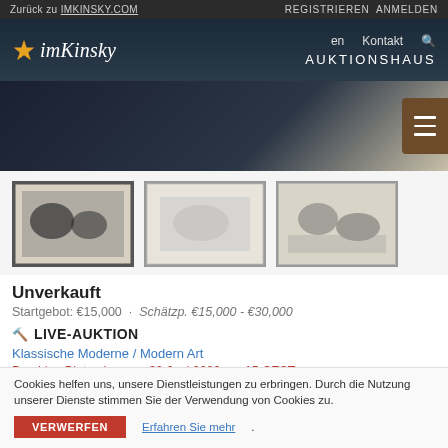Zurück zu IMKINSKY.COM   REGISTRIEREN ANMELDEN
[Figure (logo): imKinsky Auktionshaus logo with star icon, navigation links: en, Kontakt, search icon, AUKTIONSHAUS]
[Figure (photo): Hero banner image with dark textured background and beige area, menu button on right]
[Figure (photo): Three thumbnail images of artwork prints: first selected (dark etching with figures), second (light etching landscape), third (dark etching with figures)]
Unverkauft
Startgebot: €15,000 · Schätzp. €15,000 - €30,000
🔨 LIVE-AUKTION
Klassische Moderne / Modern Art
Das Live-Bieten begann 30 Juni 2022 um 15 CEST
Cookies helfen uns, unsere Dienstleistungen zu erbringen. Durch die Nutzung unserer Dienste stimmen Sie der Verwendung von Cookies zu.
VERWERFEN   Erfahren Sie mehr.